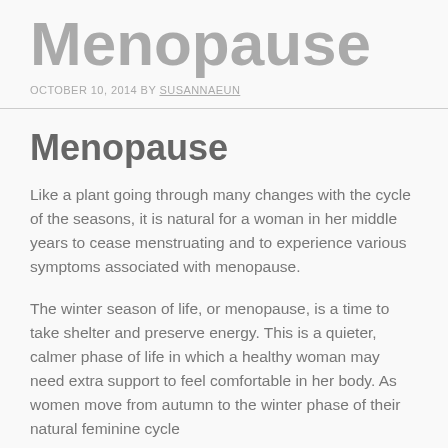Menopause
OCTOBER 10, 2014 BY SUSANNAEUN
Menopause
Like a plant going through many changes with the cycle of the seasons, it is natural for a woman in her middle years to cease menstruating and to experience various symptoms associated with menopause.
The winter season of life, or menopause, is a time to take shelter and preserve energy. This is a quieter, calmer phase of life in which a healthy woman may need extra support to feel comfortable in her body. As women move from autumn to the winter phase of their natural feminine cycle